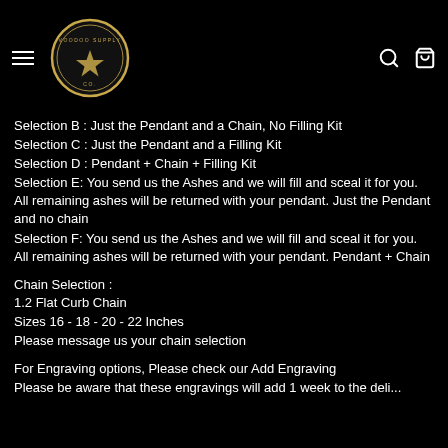Navigation header with hamburger menu, logo, search and bag icons
Selection B : Just the Pendant and a Chain, No Filling Kit
Selection C : Just the Pendant and a Filling Kit
Selection D : Pendant + Chain + Filling Kit
Selection E: You send us the Ashes and we will fill and sceal it for you. All remaining ashes will be returned with your pendant. Just the Pendant and no chain
Selection F: You send us the Ashes and we will fill and sceal it for you. All remaining ashes will be returned with your pendant. Pendant + Chain
Chain Selection :
1.2 Flat Curb Chain
Sizes 16 - 18 - 20 - 22 Inches
Please message us your chain selection
For Engraving options, Please check our Add Engraving
Please be aware that these engravings will add 1 week to the delivery...